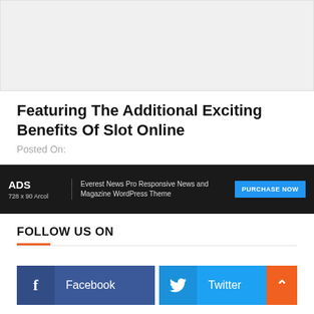[Figure (other): Gray placeholder advertisement banner area at top of page]
Featuring The Additional Exciting Benefits Of Slot Online
Posted On:
[Figure (other): Dark advertisement banner: ADS 728x90 Arcol — Everest News Pro Responsive News and Magazine WordPress Theme — PURCHASE NOW button]
FOLLOW US ON
[Figure (other): Facebook and Twitter social media follow buttons, with a scroll-to-top orange button on the right]